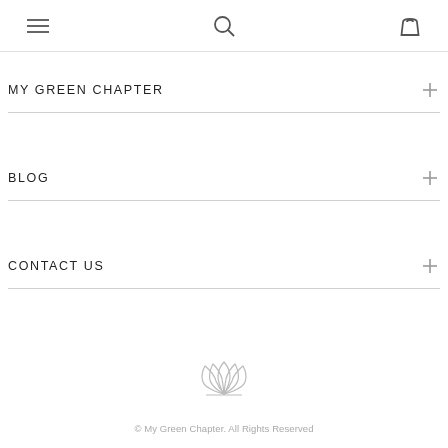☰  🔍  🛍
MY GREEN CHAPTER
BLOG
CONTACT US
[Figure (logo): Lotus / leaf decorative icon]
© My Green Chapter. All Rights Reserved